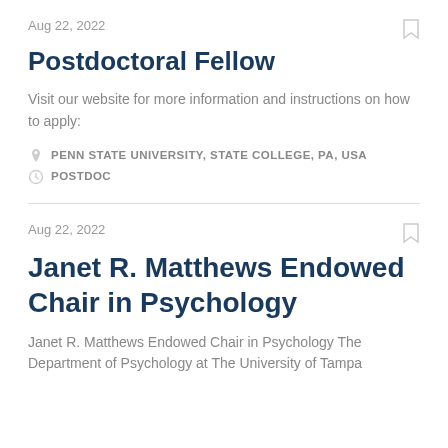Aug 22, 2022
Postdoctoral Fellow
Visit our website for more information and instructions on how to apply:
PENN STATE UNIVERSITY, STATE COLLEGE, PA, USA
POSTDOC
Aug 22, 2022
Janet R. Matthews Endowed Chair in Psychology
Janet R. Matthews Endowed Chair in Psychology The Department of Psychology at The University of Tampa